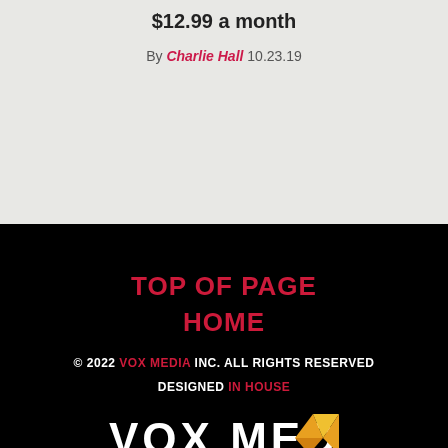$12.99 a month
By Charlie Hall 10.23.19
TOP OF PAGE
HOME
© 2022 VOX MEDIA INC. ALL RIGHTS RESERVED
DESIGNED IN HOUSE
[Figure (logo): Vox Media logo with white wordmark VOX MEDIA and a yellow/orange origami-style bird/chevron icon]